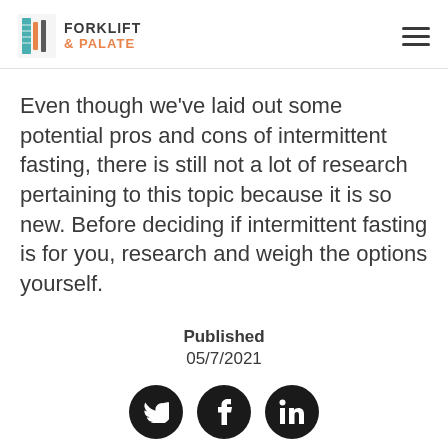FORKLIFT & PALATE
Even though we've laid out some potential pros and cons of intermittent fasting, there is still not a lot of research pertaining to this topic because it is so new. Before deciding if intermittent fasting is for you, research and weigh the options yourself.
Published
05/7/2021
[Figure (infographic): Social media share buttons: Twitter, Facebook, LinkedIn — black circular icons]
[Figure (other): Orange rounded Subscribe button]